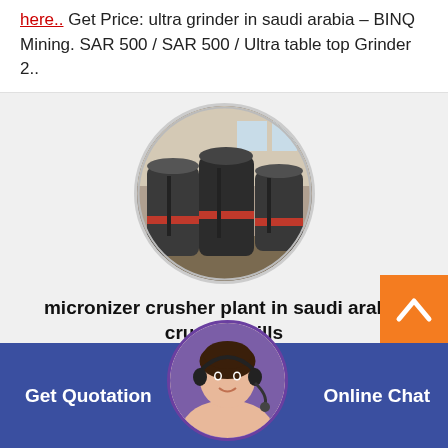here.. Get Price: ultra grinder in saudi arabia – BINQ Mining. SAR 500 / SAR 500 / Ultra table top Grinder 2..
[Figure (photo): Circular photo of industrial crusher/mill machines in a factory setting]
micronizer crusher plant in saudi arabia crusher mills
Get Quotation
[Figure (photo): Circular avatar of a woman with headset for customer support chat]
Online Chat